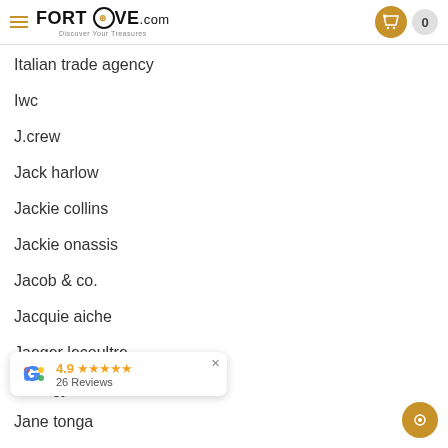FORTROVE.com | Discover Your Treasures
Italian trade agency
Iwc
J.crew
Jack harlow
Jackie collins
Jackie onassis
Jacob & co.
Jacquie aiche
Jaeger lecoultre
Jake gyllenhaal
4.9 ★★★★★ 26 Reviews (Google popup)
Jane tonga